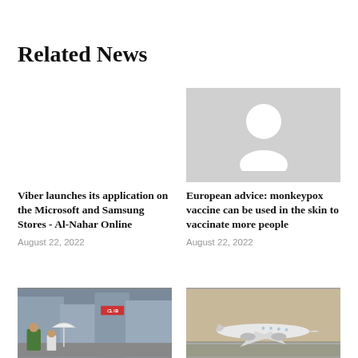Related News
[Figure (photo): No image placeholder (empty white space) for Viber article]
Viber launches its application on the Microsoft and Samsung Stores - Al-Nahar Online
August 22, 2022
[Figure (photo): Gray placeholder with person silhouette icon for European advice monkeypox article]
European advice: monkeypox vaccine can be used in the skin to vaccinate more people
August 22, 2022
[Figure (photo): Street scene photo with people and buildings with Hebrew text sign]
[Figure (photo): Airplane on runway photo]